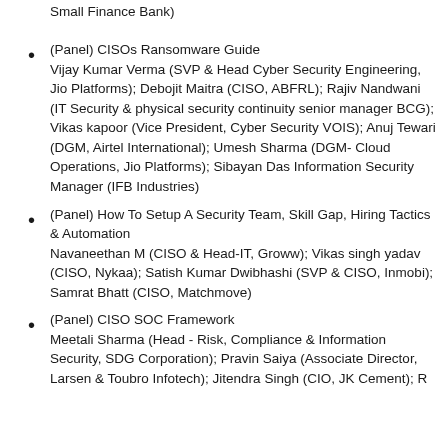Small Finance Bank)
(Panel) CISOs Ransomware Guide
Vijay Kumar Verma (SVP & Head Cyber Security Engineering, Jio Platforms); Debojit Maitra (CISO, ABFRL); Rajiv Nandwani (IT Security & physical security continuity senior manager BCG); Vikas kapoor (Vice President, Cyber Security VOIS); Anuj Tewari (DGM, Airtel International); Umesh Sharma (DGM- Cloud Operations, Jio Platforms); Sibayan Das Information Security Manager (IFB Industries)
(Panel) How To Setup A Security Team, Skill Gap, Hiring Tactics & Automation
Navaneethan M (CISO & Head-IT, Groww); Vikas singh yadav (CISO, Nykaa); Satish Kumar Dwibhashi (SVP & CISO, Inmobi); Samrat Bhatt (CISO, Matchmove)
(Panel) CISO SOC Framework
Meetali Sharma (Head - Risk, Compliance & Information Security, SDG Corporation); Pravin Saiya (Associate Director, Larsen & Toubro Infotech); Jitendra Singh (CIO, JK Cement); R